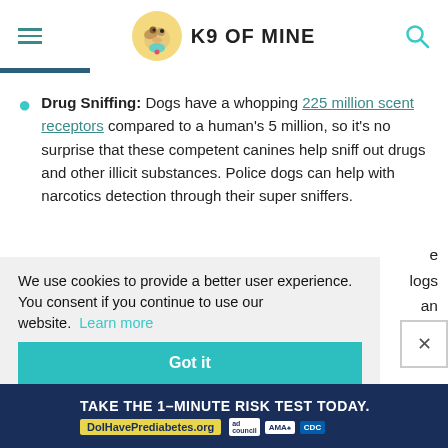K9 OF MINE
Drug Sniffing: Dogs have a whopping 225 million scent receptors compared to a human's 5 million, so it's no surprise that these competent canines help sniff out drugs and other illicit substances. Police dogs can help with narcotics detection through their super sniffers.
We use cookies to provide a better user experience. You consent if you continue to use our website. Learn more
Got it
[Figure (infographic): Advertisement banner: TAKE THE 1-MINUTE RISK TEST TODAY. DoIHavePrediabetes.org with ad council, AMA, and CDC logos.]